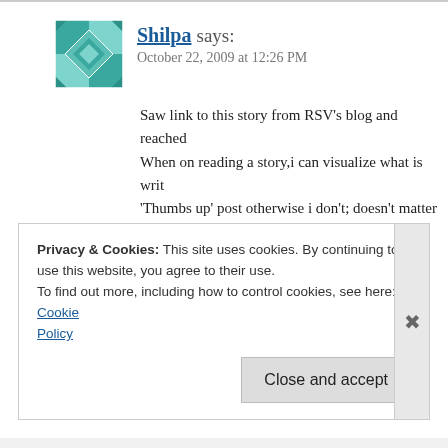[Figure (illustration): Avatar image: teal/green geometric quilt pattern square icon]
Shilpa says: October 22, 2009 at 12:26 PM
Saw link to this story from RSV's blog and reached... When on reading a story,i can visualize what is writ... 'Thumbs up' post otherwise i don't; doesn't matter... hooked while reading this one. Thumbs up by my side 🙂
shilpa
Privacy & Cookies: This site uses cookies. By continuing to use this website, you agree to their use. To find out more, including how to control cookies, see here: Cookie Policy
Close and accept